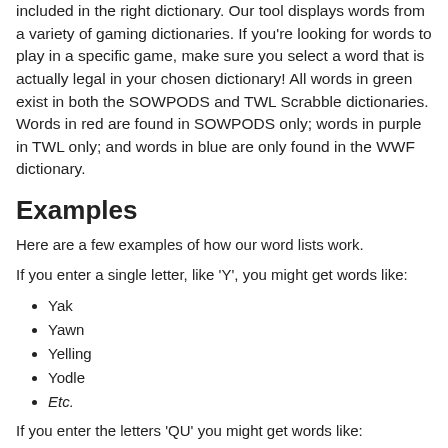included in the right dictionary. Our tool displays words from a variety of gaming dictionaries. If you're looking for words to play in a specific game, make sure you select a word that is actually legal in your chosen dictionary! All words in green exist in both the SOWPODS and TWL Scrabble dictionaries. Words in red are found in SOWPODS only; words in purple in TWL only; and words in blue are only found in the WWF dictionary.
Examples
Here are a few examples of how our word lists work.
If you enter a single letter, like 'Y', you might get words like:
Yak
Yawn
Yelling
Yodle
Etc.
If you enter the letters 'QU' you might get words like:
Quiet